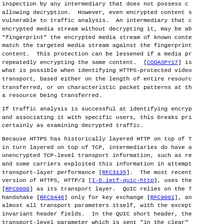inspection by any intermediary that does not possess c allowing decryption.  However, even encrypted content s vulnerable to traffic analysis.  An intermediary that c encrypted media stream without decrypting it, may be ab "fingerprint" the encrypted media stream of known conte match the targeted media stream against the fingerprint content.  This protection can be lessened if a media pr repeatedly encrypting the same content.  [CODASPY17] is what is possible when identifying HTTPS-protected video transport, based either on the length of entire resourc transferred, or on characteristic packet patterns at th a resource being transferred.
If traffic analysis is successful at identifying encryp and associating it with specific users, this breaks pri certainly as examining decrypted traffic.
Because HTTPS has historically layered HTTP on top of T in turn layered on top of TCP, intermediaries do have a unencrypted TCP-level transport information, such as re and some carriers exploited this information in attempt transport-layer performance [RFC3135].  The most recent version of HTTPS, HTTP/3 [I-D.ietf-quic-http], uses the [RFC9000] as its transport layer.  QUIC relies on the T handshake [RFC8446] only for key exchange [RFC9001], an almost all transport parameters itself, with the except invariant header fields.  In the QUIC short header, the transport-level parameter which is sent "in the clear" Destination Connection ID [RFC8999], and even in the QU header, the only transport-level parameters sent "in th